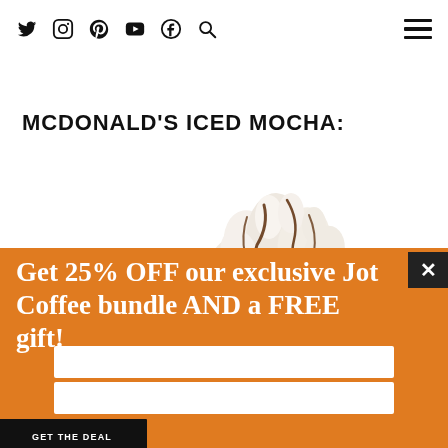Social icons: Twitter, Instagram, Pinterest, YouTube, Facebook, Search | Hamburger menu
MCDONALD'S ICED MOCHA:
[Figure (illustration): Whipped cream topping with chocolate drizzle on a McDonald's Iced Mocha drink, cropped to show the top portion]
Get 25% OFF our exclusive Jot Coffee bundle AND a FREE gift!
GET THE DEAL
✓ We don't share your information with anyone.